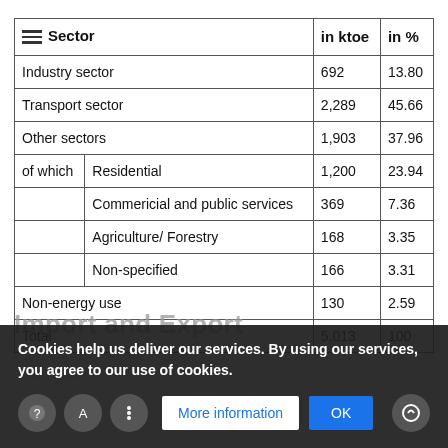| Sector | in ktoe | in % |
| --- | --- | --- |
| Industry sector | 692 | 13.80 |
| Transport sector | 2,289 | 45.66 |
| Other sectors | 1,903 | 37.96 |
| of which | Residential | 1,200 | 23.94 |
| | Commericial and public services | 369 | 7.36 |
| | Agriculture/ Forestry | 168 | 3.35 |
| | Non-specified | 166 | 3.31 |
| Non-energy use | 130 | 2.59 |
| Total | 5,013 | 100 |
Import and Export
Cookies help us deliver our services. By using our services, you agree to our use of cookies.